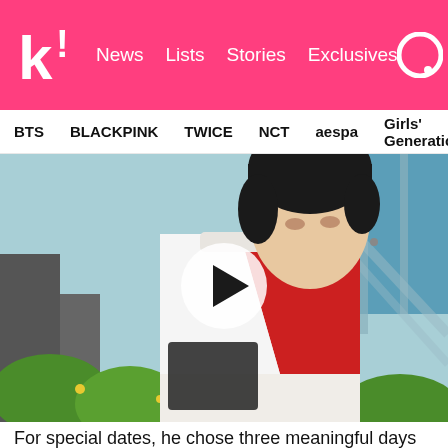k! News  Lists  Stories  Exclusives
BTS  BLACKPINK  TWICE  NCT  aespa  Girls' Generation
[Figure (photo): A young man with dark hair wearing a white and red jacket, looking down at something, surrounded by green plants. A video play button overlay is in the center of the image.]
For special dates, he chose three meaningful days that ARMY know by heart!